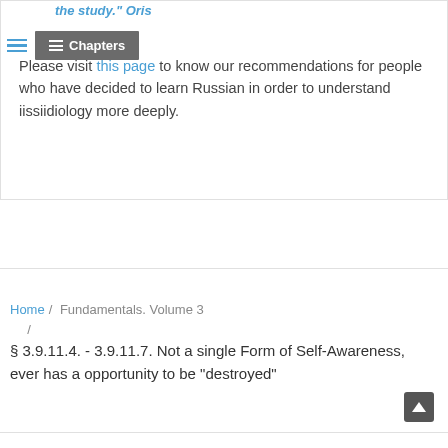the study." Oris
Please visit this page to know our recommendations for people who have decided to learn Russian in order to understand iissiidiology more deeply.
Home / Fundamentals. Volume 3 /
§ 3.9.11.4. - 3.9.11.7. Not a single Form of Self-Awareness, ever has a opportunity to be "destroyed"